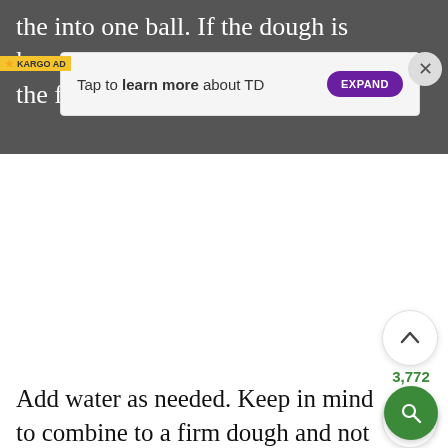the into one ball. If the dough is kneaded than the fla
[Figure (screenshot): Advertisement banner: 'Tap to learn more about TD' with purple EXPAND button, KARGO AD label on left, and close (X) button on right]
[Figure (infographic): Vote up chevron button, vote count 3,772 in green, heart/favorite button, and green search button on right side]
Add water as needed. Keep in mind to combine to a firm dough and not a soft dough. Cover the dough and keep aside for 30 mins